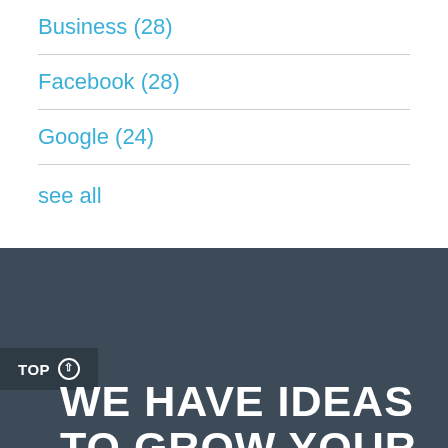Business (28)
Facebook (28)
Google (24)
see all
TOP ↑
WE HAVE IDEAS TO GROW YOUR BUSINESS